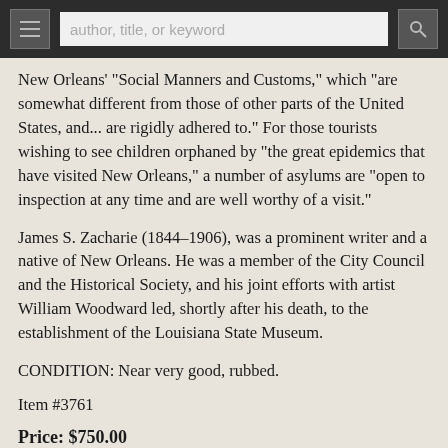author, title, or keyword
New Orleans' "Social Manners and Customs," which "are somewhat different from those of other parts of the United States, and... are rigidly adhered to." For those tourists wishing to see children orphaned by "the great epidemics that have visited New Orleans," a number of asylums are "open to inspection at any time and are well worthy of a visit."
James S. Zacharie (1844–1906), was a prominent writer and a native of New Orleans. He was a member of the City Council and the Historical Society, and his joint efforts with artist William Woodward led, shortly after his death, to the establishment of the Louisiana State Museum.
CONDITION: Near very good, rubbed.
Item #3761
Price: $750.00